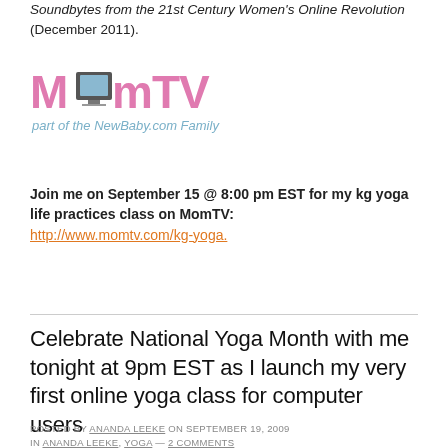Soundbytes from the 21st Century Women's Online Revolution (December 2011).
[Figure (logo): MomTV logo - pink text reading MomTV with a TV icon, subtitle reading 'part of the NewBaby.com Family']
Join me on September 15 @ 8:00 pm EST for my kg yoga life practices class on MomTV: http://www.momtv.com/kg-yoga.
Celebrate National Yoga Month with me tonight at 9pm EST as I launch my very first online yoga class for computer users
POSTED BY ANANDA LEEKE ON SEPTEMBER 19, 2009 IN ANANDA LEEKE, YOGA — 2 COMMENTS